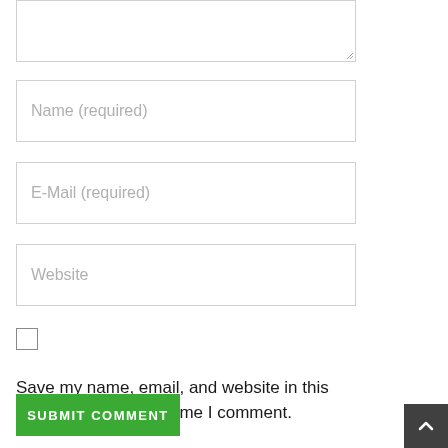[Figure (screenshot): Top portion of a textarea input field with resize handle at bottom-right corner]
Name (required)
E-Mail (required)
Website
Save my name, email, and website in this browser for the next time I comment.
SUBMIT COMMENT